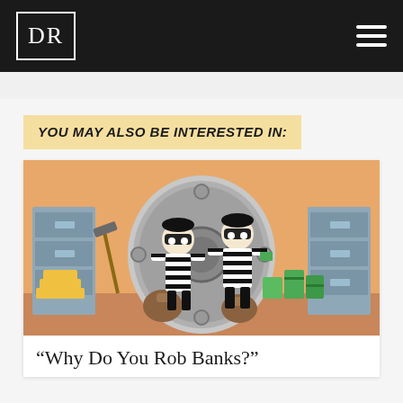DR
YOU MAY ALSO BE INTERESTED IN:
[Figure (illustration): Cartoon illustration of two bank robbers in black-and-white striped outfits and black masks trying to open a large circular bank vault door. The scene shows filing cabinets on both sides, stacks of gold bars on the left, piles of cash (green stacks) on the right, brown money bags on the floor, and a pickaxe leaning against filing cabinets.]
“Why Do You Rob Banks?”